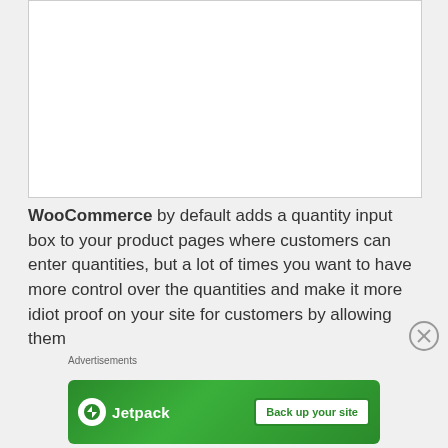[Figure (other): Empty white placeholder image region with border]
WooCommerce by default adds a quantity input box to your product pages where customers can enter quantities, but a lot of times you want to have more control over the quantities and make it more idiot proof on your site for customers by allowing them to select the quantities instead of entering it...
Advertisements
[Figure (other): Jetpack advertisement banner with 'Back up your site' button on green background]